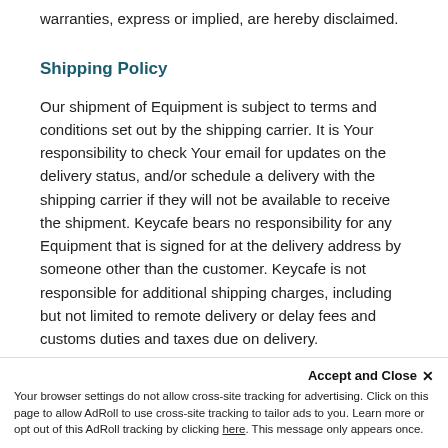warranties, express or implied, are hereby disclaimed.
Shipping Policy
Our shipment of Equipment is subject to terms and conditions set out by the shipping carrier. It is Your responsibility to check Your email for updates on the delivery status, and/or schedule a delivery with the shipping carrier if they will not be available to receive the shipment. Keycafe bears no responsibility for any Equipment that is signed for at the delivery address by someone other than the customer. Keycafe is not responsible for additional shipping charges, including but not limited to remote delivery or delay fees and customs duties and taxes due on delivery.
Accept and Close ×
Your browser settings do not allow cross-site tracking for advertising. Click on this page to allow AdRoll to use cross-site tracking to tailor ads to you. Learn more or opt out of this AdRoll tracking by clicking here. This message only appears once.